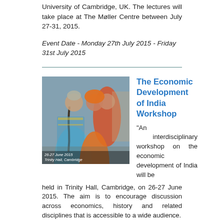University of Cambridge, UK. The lectures will take place at The Møller Centre between July 27-31, 2015.
Event Date - Monday 27th July 2015 - Friday 31st July 2015
[Figure (photo): Photo of women in colorful traditional Indian clothing at a market scene. Caption reads: 26-27 June 2015, Trinity Hall, Cambridge]
The Economic Development of India Workshop
"An interdisciplinary workshop on the economic development of India will be held in Trinity Hall, Cambridge, on 26-27 June 2015. The aim is to encourage discussion across economics, history and related disciplines that is accessible to a wide audience.